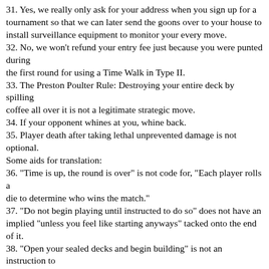31. Yes, we really only ask for your address when you sign up for a tournament so that we can later send the goons over to your house to install surveillance equipment to monitor your every move.
32. No, we won't refund your entry fee just because you were punted during the first round for using a Time Walk in Type II.
33. The Preston Poulter Rule: Destroying your entire deck by spilling coffee all over it is not a legitimate strategic move.
34. If your opponent whines at you, whine back.
35. Player death after taking lethal unprevented damage is not optional.
Some aids for translation:
36. "Time is up, the round is over" is not code for, "Each player rolls a die to determine who wins the match."
37. "Do not begin playing until instructed to do so" does not have an implied "unless you feel like starting anyways" tacked onto the end of it.
38. "Open your sealed decks and begin building" is not an instruction to "Search your deck for all Cloaks of Invisibility, discard them, and replace